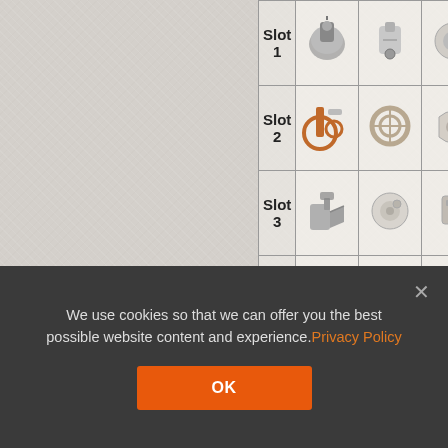[Figure (screenshot): Partial view of a game equipment slot table showing Slot 1 through Slot 4, each with equipment icons. The table is cropped on the right side. Below the table are section headers 'Player Opinion' and 'Performance' partially visible.]
Player Opinion
Performance
We use cookies so that we can offer you the best possible website content and experience.​Privacy Policy